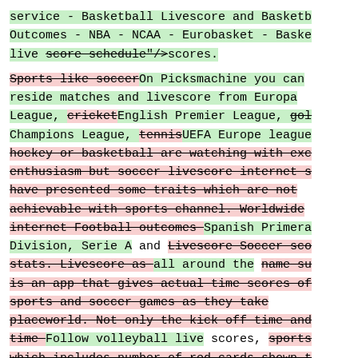service - Basketball Livescore and Basketb Outcomes - NBA - NCAA - Eurobasket - Baske live score schedule"/>scores.
Sports like soccerOn Picksmachine you can reside matches and livescore from Europa League, cricketEnglish Premier League, gol Champions League, tennisUEFA Europe league hockey or basketball are watching with exc enthusiasm but soccer livescore internet s have presented some traits which are not achievable with sports channel. Worldwide internet Football outcomes Spanish Primera Division, Serie A and Livescore Soccer sco stats. Livescore as all around the name su is an app that gives actual time scores of sports and soccer games as they take placeworld. Not only the kick off time and time Follow volleyball live scores, sports which includes number of red cards shown t